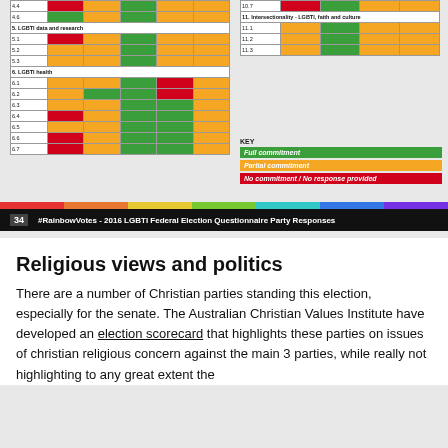[Figure (table-as-image): Colored grid table showing LGBTI policy commitment ratings for sections 4-6 (LGBTI data and research, LGBTI health) with green/orange/red cells]
[Figure (table-as-image): Colored grid table showing LGBTI policy commitment ratings for section 10.7 and section 11 (Intersectionality - LGBTI, faith and culture) with green/orange/red cells, plus KEY legend]
34   #RainbowVotes - 2016 LGBTI Federal Election Questionnaire Party Responses
Religious views and politics
There are a number of Christian parties standing this election, especially for the senate. The Australian Christian Values Institute have developed an election scorecard that highlights these parties on issues of christian religious concern against the main 3 parties, while really not highlighting to any great extent the